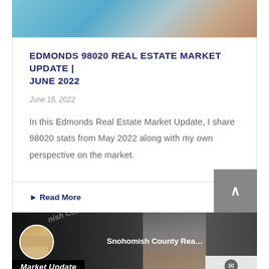[Figure (photo): Top partial image showing blurred background with blue and skin tones]
EDMONDS 98020 REAL ESTATE MARKET UPDATE | JUNE 2022
June 15, 2022
In this Edmonds Real Estate Market Update, I share 98020 stats from May 2022 along with my own perspective on the market.
Read More
[Figure (screenshot): Video thumbnail showing Snohomish County Real Estate Market Update with avatar, diagonal text overlay, and man in background]